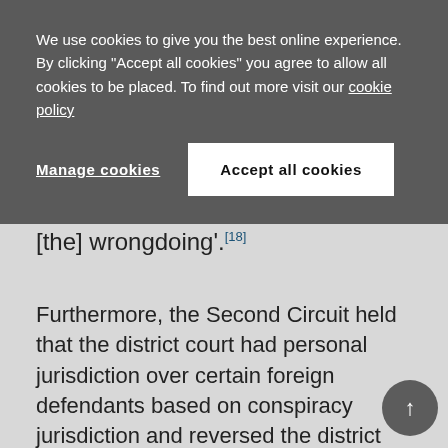We use cookies to give you the best online experience. By clicking "Accept all cookies" you agree to allow all cookies to be placed. To find out more visit our cookie policy
Manage cookies | Accept all cookies
[the] wrongdoing'.[18]
Furthermore, the Second Circuit held that the district court had personal jurisdiction over certain foreign defendants based on conspiracy jurisdiction and reversed the district court's finding to the contrary. The Second Circuit's analysis hinged on the plaintiffs' allegations of overt acts to direct the conspiracy occurring within the United States, specifically that managers and executives in